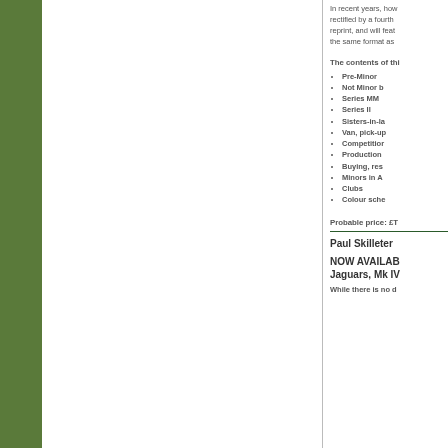In recent years, how rectified by a fourth reprint, and will feat the same format as
The contents of thi
Pre-Minor
Not Minor b
Series MM
Series II
Sisters-in-la
Van, pick-up
Competition
Production
Buying, res
Minors in A
Clubs
Colour sche
Probable price: £T
Paul Skilleter
NOW AVAILAB Jaguars, Mk IV
While there is no d